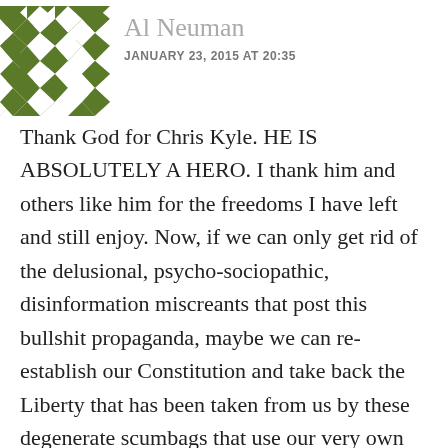[Figure (illustration): Green and white diamond/checkerboard pattern avatar icon for user Al Neuman]
Al Neuman
JANUARY 23, 2015 AT 20:35
Thank God for Chris Kyle. HE IS ABSOLUTELY A HERO. I thank him and others like him for the freedoms I have left and still enjoy. Now, if we can only get rid of the delusional, psycho-sociopathic, disinformation miscreants that post this bullshit propaganda, maybe we can re-establish our Constitution and take back the Liberty that has been taken from us by these degenerate scumbags that use our very own 1st Amendment Rights to undermine the